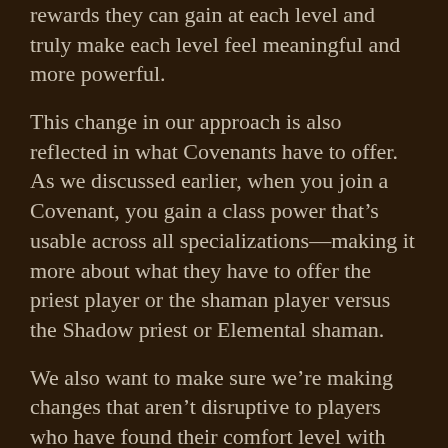rewards they can gain at each level and truly make each level feel meaningful and more powerful.
This change in our approach is also reflected in what Covenants have to offer. As we discussed earlier, when you join a Covenant, you gain a class power that’s usable across all specializations—making it more about what they have to offer the priest player or the shaman player versus the Shadow priest or Elemental shaman.
We also want to make sure we’re making changes that aren’t disruptive to players who have found their comfort level with their class, and want to make sure that we’re focusing on the opportunities for big wins for classes.
Defining Class